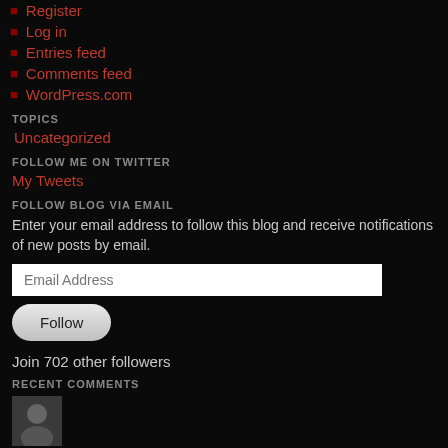Register
Log in
Entries feed
Comments feed
WordPress.com
TOPICS
Uncategorized
FOLLOW ME ON TWITTER
My Tweets
FOLLOW BLOG VIA EMAIL
Enter your email address to follow this blog and receive notifications of new posts by email.
Join 702 other followers
RECENT COMMENTS
[Figure (photo): Avatar/profile photo thumbnail at bottom of page]